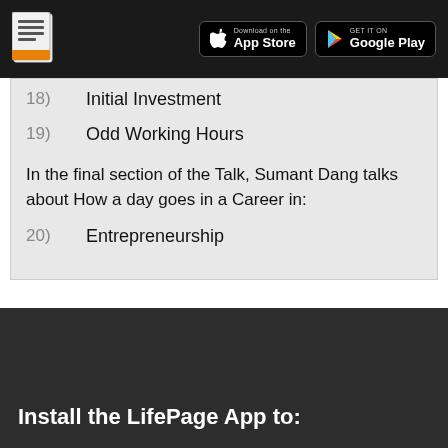LifePage | Download on the App Store | GET IT ON Google Play
18)  Initial Investment
19)  Odd Working Hours
In the final section of the Talk, Sumant Dang talks about How a day goes in a Career in:
20)  Entrepreneurship
Install the LifePage App to: